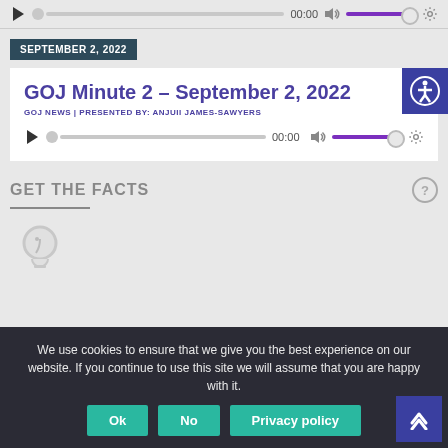[Figure (screenshot): Audio player controls at top of page with play button, progress bar showing 00:00, volume icon, purple volume slider, and settings gear icon]
SEPTEMBER 2, 2022
GOJ Minute 2 – September 2, 2022
GOJ NEWS | PRESENTED BY: ANJUII JAMES-SAWYERS
[Figure (screenshot): Audio player with play button, progress bar at 00:00, volume icon, purple volume slider and settings gear]
GET THE FACTS
[Figure (illustration): Light bulb icon in grey, partially visible]
We use cookies to ensure that we give you the best experience on our website. If you continue to use this site we will assume that you are happy with it.
Ok
No
Privacy policy